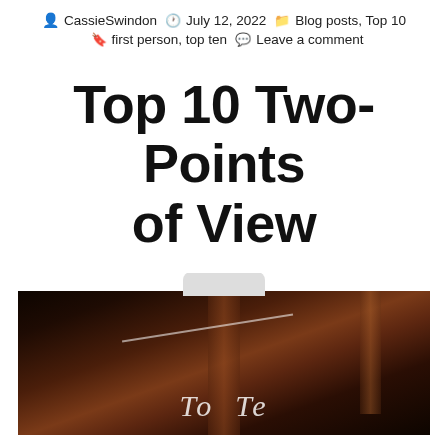CassieSwindon  July 12, 2022  Blog posts, Top 10  first person, top ten  Leave a comment
Top 10 Two-Points of View
[Figure (photo): Dark brown book cover photograph with a white tab shape at the top and cursive/script text overlay reading 'Top Te...' (partially visible), with dramatic dark brown lighting and a vertical book spine visible.]